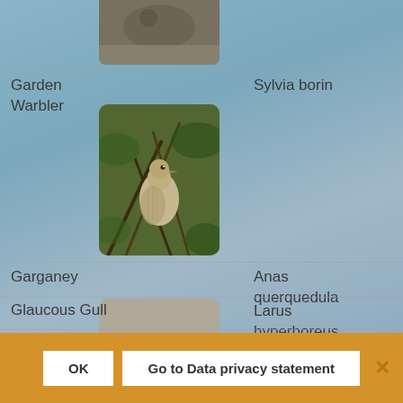[Figure (photo): Partial view of a bird photo at top (cut off), appears to be a waterbird]
Garden Warbler
Sylvia borin
[Figure (photo): Garden Warbler bird perched on branches among green foliage]
Garganey
Anas querquedula
[Figure (photo): Garganey duck swimming on water, showing distinctive brown and white head markings]
Glaucous Gull
Larus hyperboreus
Glossy Ibis
Plegadis
OK
Go to Data privacy statement